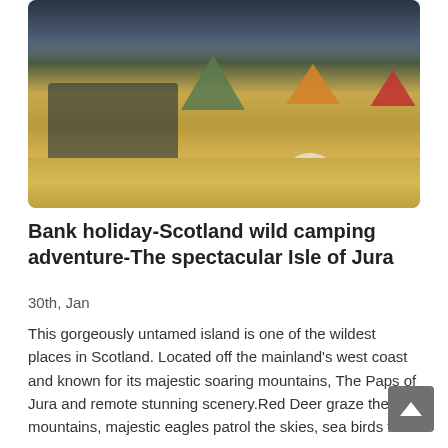[Figure (photo): Three people in outdoor jackets crouching on sandy ground with camping tents (green, orange, red) in background under dramatic dark cloudy sky. Golden grassy landscape. A sheep is visible in the foreground right. Camping gear scattered around.]
Bank holiday-Scotland wild camping adventure-The spectacular Isle of Jura
30th, Jan
This gorgeously untamed island is one of the wildest places in Scotland. Located off the mainland's west coast and known for its majestic soaring mountains, The Paps of Jura and remote stunning scenery.Red Deer graze the mountains, majestic eagles patrol the skies, sea birds flock